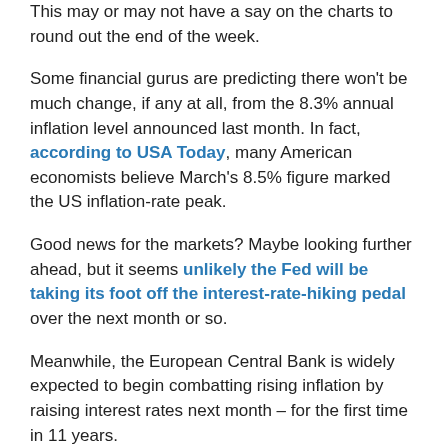This may or may not have a say on the charts to round out the end of the week.
Some financial gurus are predicting there won't be much change, if any at all, from the 8.3% annual inflation level announced last month. In fact, according to USA Today, many American economists believe March's 8.5% figure marked the US inflation-rate peak.
Good news for the markets? Maybe looking further ahead, but it seems unlikely the Fed will be taking its foot off the interest-rate-hiking pedal over the next month or so.
Meanwhile, the European Central Bank is widely expected to begin combatting rising inflation by raising interest rates next month – for the first time in 11 years.
Some, however, are noticing a slightly different narrative…
Inflation in the Netherlands is currently 8.8% in May, lower than the number of April 2022: 9.6%.